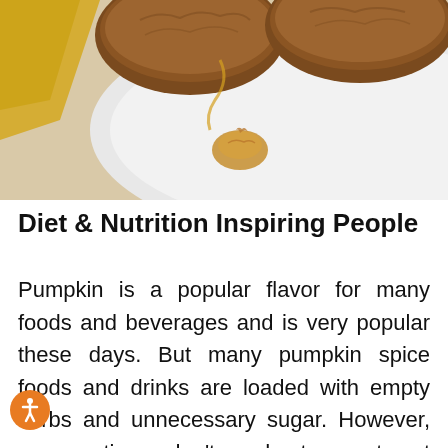[Figure (photo): Overhead view of pumpkin muffins on a white plate with a small dollop of what appears to be peanut butter or nut butter, and a yellow napkin visible at the edge.]
Diet & Nutrition Inspiring People
Pumpkin is a popular flavor for many foods and beverages and is very popular these days. But many pumpkin spice foods and drinks are loaded with empty carbs and unnecessary sugar. However, your options don't end at sweet yet unhealthy treats.